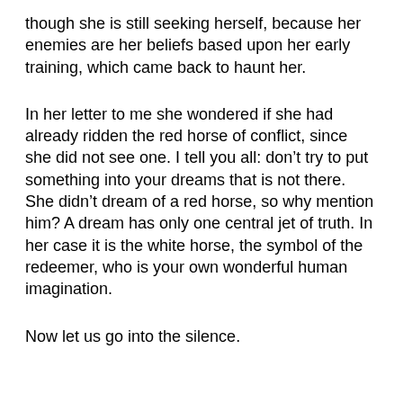though she is still seeking herself, because her enemies are her beliefs based upon her early training, which came back to haunt her.
In her letter to me she wondered if she had already ridden the red horse of conflict, since she did not see one. I tell you all: don’t try to put something into your dreams that is not there. She didn’t dream of a red horse, so why mention him? A dream has only one central jet of truth. In her case it is the white horse, the symbol of the redeemer, who is your own wonderful human imagination.
Now let us go into the silence.